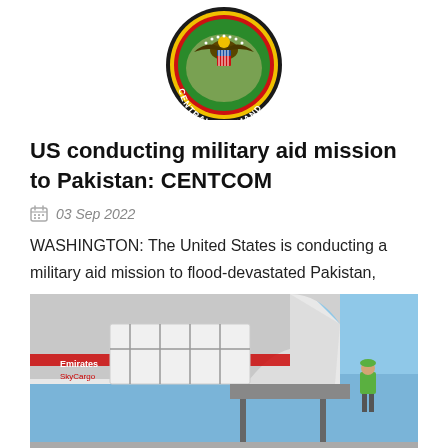[Figure (logo): US Central Command (CENTCOM) circular military seal/logo with eagle, US shield, green background, yellow and red rings, and 'CENTRAL COMMAND' text]
US conducting military aid mission to Pakistan: CENTCOM
03 Sep 2022
WASHINGTON: The United States is conducting a military aid mission to flood-devastated Pakistan,
[Figure (photo): Cargo being loaded into an Emirates SkyCargo aircraft by a worker in a green safety vest on a loading platform, with blue sky in background]